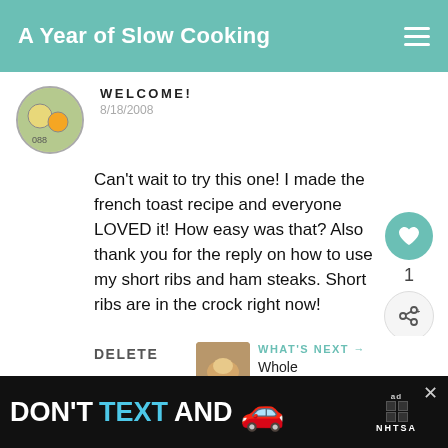A Year of Slow Cooking
WELCOME!
8/18/2008
Can't wait to try this one! I made the french toast recipe and everyone LOVED it! How easy was that? Also thank you for the reply on how to use my short ribs and ham steaks. Short ribs are in the crock right now!
DELETE
WHAT'S NEXT →
Whole Chicken in t...
MOMMY MINDED
[Figure (screenshot): Ad banner: DON'T TEXT AND [car emoji] with NHTSA logo and close button]